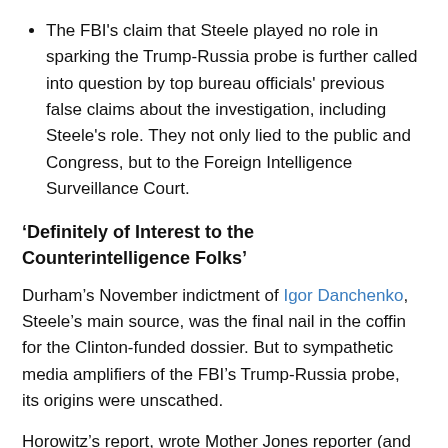The FBI's claim that Steele played no role in sparking the Trump-Russia probe is further called into question by top bureau officials' previous false claims about the investigation, including Steele's role. They not only lied to the public and Congress, but to the Foreign Intelligence Surveillance Court.
‘Definitely of Interest to the Counterintelligence Folks’
Durham’s November indictment of Igor Danchenko, Steele’s main source, was the final nail in the coffin for the Clinton-funded dossier. But to sympathetic media amplifiers of the FBI’s Trump-Russia probe, its origins were unscathed.
Horowitz’s report, wrote Mother Jones reporter (and early Steele media contact) David Corn, “concluded that the FBI investigation of Trump-Russia contacts had been legitimately